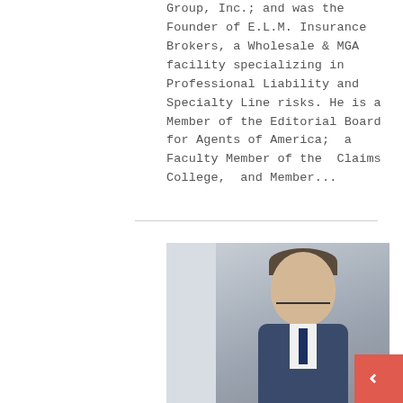Group, Inc.; and was the Founder of E.L.M. Insurance Brokers, a Wholesale & MGA facility specializing in Professional Liability and Specialty Line risks. He is a Member of the Editorial Board for Agents of America;  a Faculty Member of the  Claims College,  and Member...
[Figure (photo): Professional headshot of a man wearing glasses, a blue suit, white shirt, and dark tie, smiling at the camera against a light grey background.]